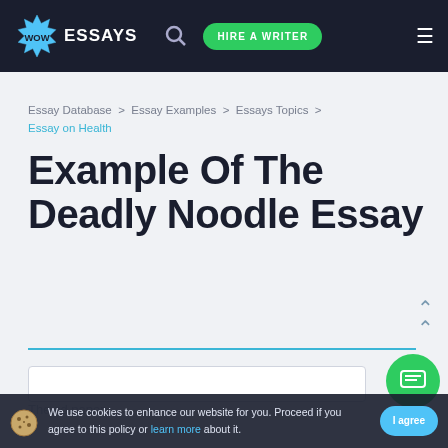WOW ESSAYS  [search]  HIRE A WRITER  [menu]
Essay Database > Essay Examples > Essays Topics > Essay on Health
Example Of The Deadly Noodle Essay
We use cookies to enhance our website for you. Proceed if you agree to this policy or learn more about it.  I agree